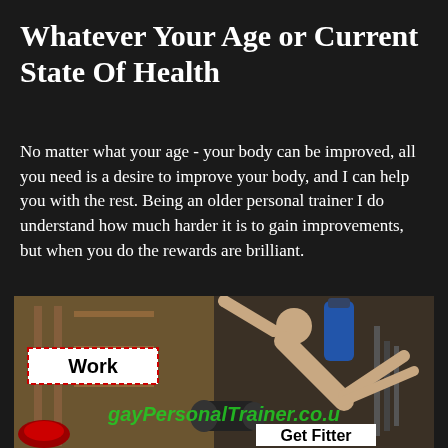Whatever Your Age or Current State Of Health
No matter what your age - your body can be improved, all you need is a desire to improve your body, and I can help you with the rest. Being an older personal trainer I do understand how much harder it is to gain improvements, but when you do the rewards are brilliant.
[Figure (photo): Gym photo showing a person exercising, with a dashed-border label reading 'Work' on the left side, a green watermark 'gayPersonalTrainer.co.u' overlaid, and a white label 'Get Fitter' at the bottom right.]